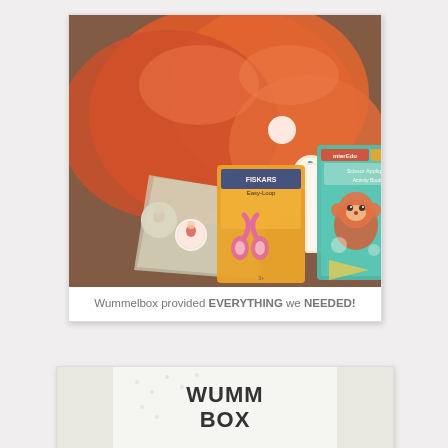[Figure (photo): Polaroid-style photo card showing craft supplies: orange/red plastic bags with stickers (character labels), pink Fiskars Easy-Loop scissors in packaging, a white item, and a teal/green children's activity book with a monkey illustration. Caption reads: Wummelbox provided EVERYTHING we NEEDED!]
Wummelbox provided EVERYTHING we NEEDED!
[Figure (photo): Partial view of a second image showing a Wummelbox branded box/packaging with bold text 'WUMMELBOX' visible at the bottom of the page.]